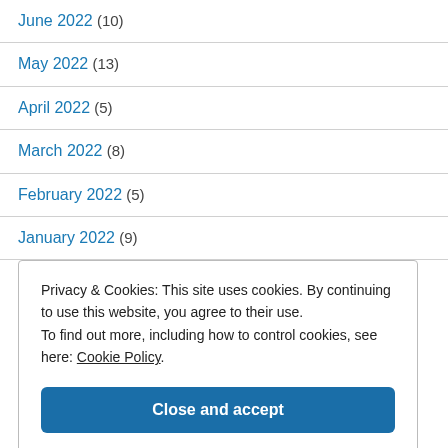June 2022 (10)
May 2022 (13)
April 2022 (5)
March 2022 (8)
February 2022 (5)
January 2022 (9)
Privacy & Cookies: This site uses cookies. By continuing to use this website, you agree to their use.
To find out more, including how to control cookies, see here: Cookie Policy
Close and accept